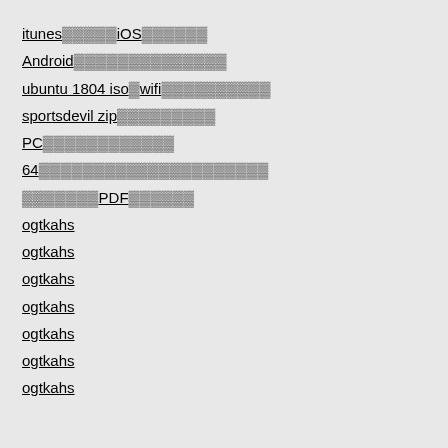itunes　　　　iOS
Android
ubuntu 1804 iso　wifi
sportsdevil zip
PC
64
PDF
ogtkahs
ogtkahs
ogtkahs
ogtkahs
ogtkahs
ogtkahs
ogtkahs